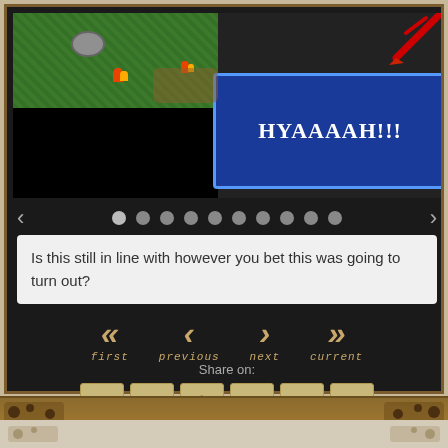[Figure (screenshot): Pixel art game screenshot showing a grass field with a rock, fire spots, a black area, and a blue dialog box with the text 'HYAAAAH!!!' in white, and a red sword/element in the top right corner]
[Figure (infographic): Navigation dots row: left arrow, 10 gray dots, right arrow]
Is this still in line with however you bet this was going to turn out?
[Figure (infographic): Navigation buttons: << first, < previous, > next, >> current]
Share on:
[Figure (infographic): Share buttons: Facebook (f), Twitter (bird), Pinterest (p), Tumblr (t), Email (envelope), Reddit (alien)]